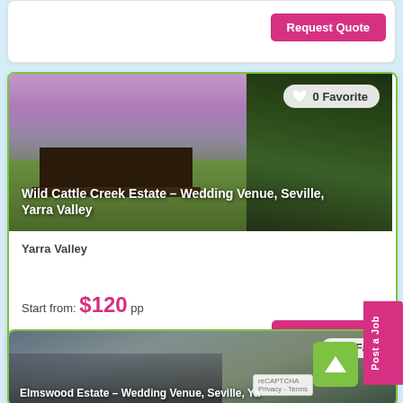[Figure (photo): Top partial card with Request Quote button]
[Figure (photo): Wild Cattle Creek Estate wedding venue photo showing estate building with purple sky and green trees, with 0 Favorite badge and venue name overlay]
Wild Cattle Creek Estate – Wedding Venue, Seville, Yarra Valley
Yarra Valley
Start from: $120 pp
0 Review   483 times   110   150
[Figure (photo): Elmswood Estate wedding venue partial photo showing couple with mountains, with 0 Fav badge]
Elmswood Estate – Wedding Venue, Seville, Ya